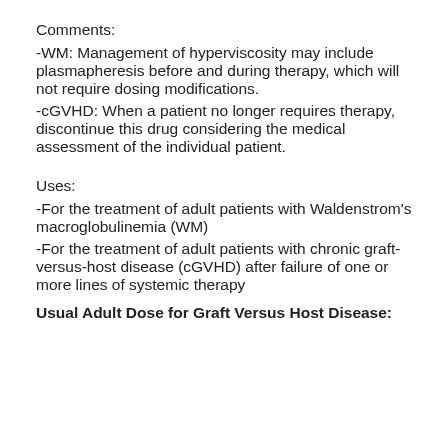Comments:
-WM: Management of hyperviscosity may include plasmapheresis before and during therapy, which will not require dosing modifications.
-cGVHD: When a patient no longer requires therapy, discontinue this drug considering the medical assessment of the individual patient.
Uses:
-For the treatment of adult patients with Waldenstrom's macroglobulinemia (WM)
-For the treatment of adult patients with chronic graft-versus-host disease (cGVHD) after failure of one or more lines of systemic therapy
Usual Adult Dose for Graft Versus Host Disease: